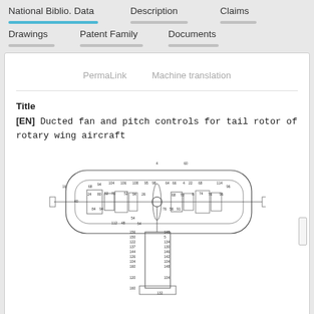National Biblio. Data | Description | Claims | Drawings | Patent Family | Documents
PermaLink   Machine translation
Title
[EN] Ducted fan and pitch controls for tail rotor of rotary wing aircraft
[Figure (engineering-diagram): Detailed engineering cross-section schematic of a ducted fan and pitch control mechanism for a tail rotor of a rotary wing aircraft, with numerous numbered reference labels.]